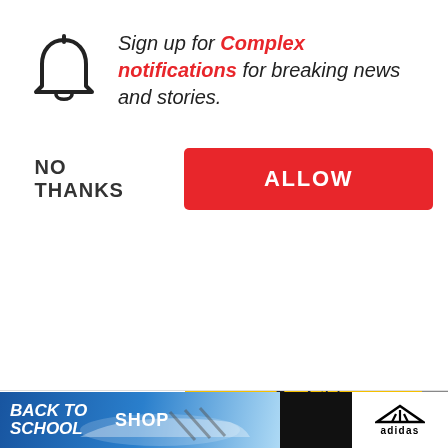Sign up for Complex notifications for breaking news and stories.
NO THANKS
ALLOW
how to play piano
13.
Top Articles
[Figure (photo): Canelo Álvarez posing with snack foods on a yellow background, from the show Snacked]
Canelo Álvarez Breaks Down HisFavorite Snacks| Snacked
What about produ can point to?
I was in high scho really started in co started actually recording myself and making music,
prod
[Figure (photo): Adidas Back to School Shop advertisement banner with sneaker image]
BACK TO SCHOOL SHOP adidas